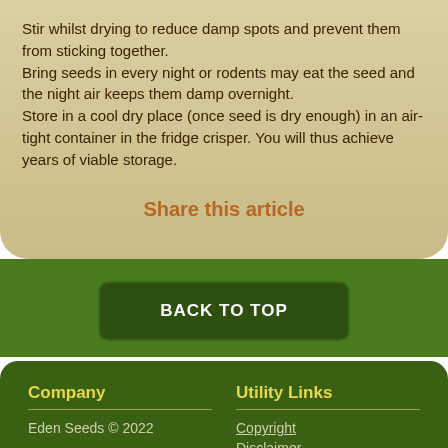Stir whilst drying to reduce damp spots and prevent them from sticking together.
Bring seeds in every night or rodents may eat the seed and the night air keeps them damp overnight.
Store in a cool dry place (once seed is dry enough) in an air-tight container in the fridge crisper. You will thus achieve years of viable storage.
Share this article
BACK TO TOP
Company
Eden Seeds © 2022
Utility Links
Copyright
Disclaimer